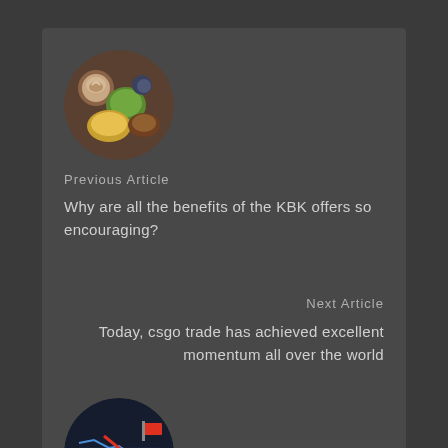[Figure (photo): Circular thumbnail image showing food and drinks from above (coffee, pizza, green items) for Previous Article]
Previous Article
Why are all the benefits of the KBK offers so encouraging?
Next Article
Today, csgo trade has achieved excellent momentum all over the world
[Figure (photo): Circular thumbnail image showing a dark background with a red downward arrow chart and game-related graphics for Next Article]